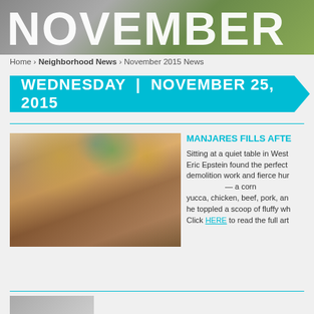[Figure (photo): NOVEMBER header banner with foliage/nature background, white bold text]
Home › Neighborhood News › November 2015 News
WEDNESDAY | NOVEMBER 25, 2015
[Figure (photo): Interior of Manjares restaurant filled with people dining, colorful balloon decorations hanging from ceiling]
MANJARES FILLS AFTE
Sitting at a quiet table in West... Eric Epstein found the perfect... demolition work and fierce hur... — a corn... yucca, chicken, beef, pork, an... he toppled a scoop of fluffy wh... Click HERE to read the full art...